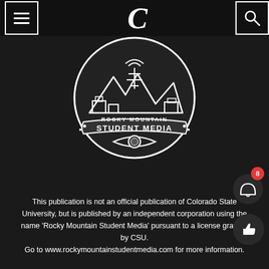Rocky Mountain Student Media — Collegian header bar with menu and search
[Figure (logo): Rocky Mountain Student Media circular logo featuring mountains, broadcast tower, media equipment, and a ram mascot eye, with 'ROCKY MOUNTAIN STUDENT MEDIA' text]
This publication is not an official publication of Colorado State University, but is published by an independent corporation using the name 'Rocky Mountain Student Media' pursuant to a license granted by CSU.
Go to www.rockymountainstudentmedia.com for more information.